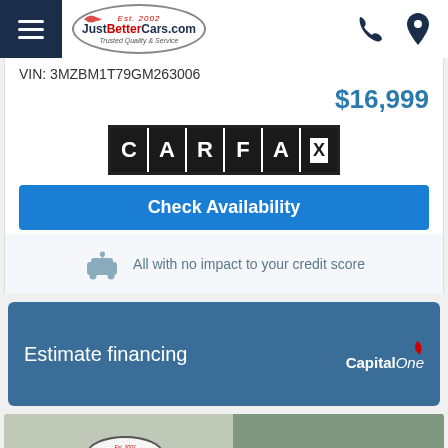[Figure (logo): JustBetterCars.com logo in oval with Est. 2002 and Trusted Quality & Service tagline]
VIN: 3MZBM1T79GM263006
$16,999
[Figure (logo): CARFAX logo - black box with white block letters C A R F A and stylized X]
Check Availability
All with no impact to your credit score
Estimate financing
[Figure (logo): Capital One logo with red swoosh]
[Figure (photo): JustBetterCars.com dealership exterior sign and parking lot with vehicles and trees]